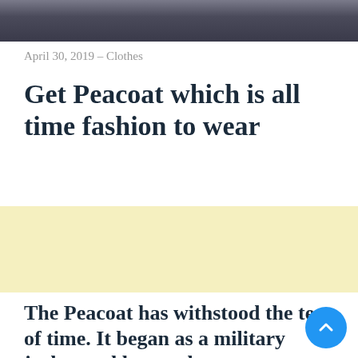[Figure (photo): A person wearing a peacoat, photographed outdoors against a textured background. Only the lower portion of the image is visible as a cropped strip at the top of the page.]
April 30, 2019 – Clothes
Get Peacoat which is all time fashion to wear
[Figure (other): Advertisement banner with light yellow background.]
The Peacoat has withstood the test of time. It began as a military jacket and has evolved into a fashion staple for both men and women. Very few